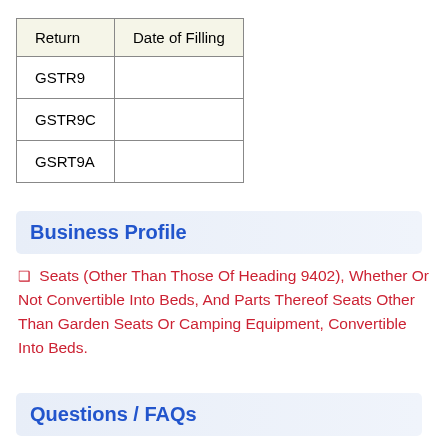| Return | Date of Filling |
| --- | --- |
| GSTR9 |  |
| GSTR9C |  |
| GSRT9A |  |
Business Profile
❑ Seats (Other Than Those Of Heading 9402), Whether Or Not Convertible Into Beds, And Parts Thereof Seats Other Than Garden Seats Or Camping Equipment, Convertible Into Beds.
Questions / FAQs